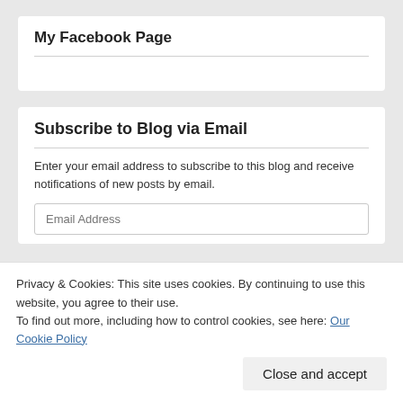My Facebook Page
Subscribe to Blog via Email
Enter your email address to subscribe to this blog and receive notifications of new posts by email.
Email Address
Privacy & Cookies: This site uses cookies. By continuing to use this website, you agree to their use.
To find out more, including how to control cookies, see here: Our Cookie Policy
Close and accept